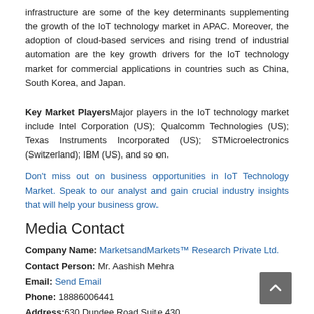infrastructure are some of the key determinants supplementing the growth of the IoT technology market in APAC. Moreover, the adoption of cloud-based services and rising trend of industrial automation are the key growth drivers for the IoT technology market for commercial applications in countries such as China, South Korea, and Japan.
Key Market PlayersMajor players in the IoT technology market include Intel Corporation (US); Qualcomm Technologies (US); Texas Instruments Incorporated (US); STMicroelectronics (Switzerland); IBM (US), and so on.
Don't miss out on business opportunities in IoT Technology Market. Speak to our analyst and gain crucial industry insights that will help your business grow.
Media Contact
Company Name: MarketsandMarkets™ Research Private Ltd.
Contact Person: Mr. Aashish Mehra
Email: Send Email
Phone: 18886006441
Address:630 Dundee Road Suite 430
City: Northbrook
State: IL 60062